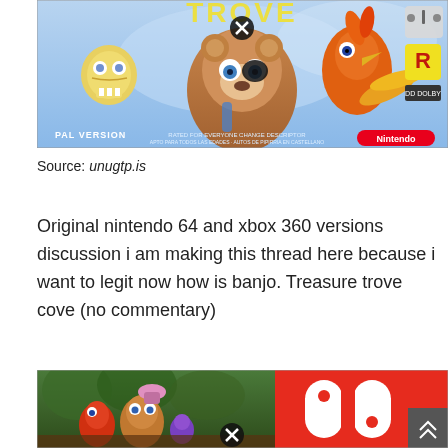[Figure (photo): Banjo-Kazooie Nintendo 64 PAL version game box art showing cartoon characters including a bear and bird, with Nintendo branding and close/cancel icon overlay]
Source: unugtp.is
Original nintendo 64 and xbox 360 versions discussion i am making this thread here because i want to legit now how is banjo. Treasure trove cove (no commentary)
[Figure (photo): Composite image showing Banjo-Kazooie gameplay screenshot on the left half and Nintendo Switch logo on orange/red background on the right half, with a close icon overlay and scroll button]